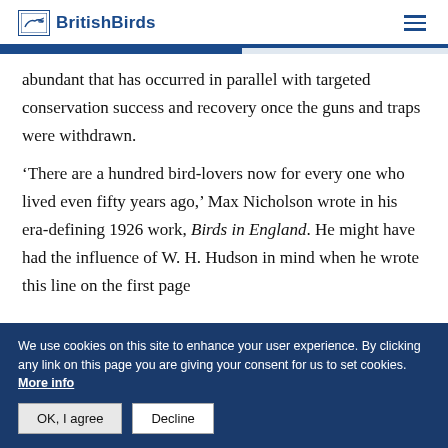BritishBirds
abundant that has occurred in parallel with targeted conservation success and recovery once the guns and traps were withdrawn.
‘There are a hundred bird-lovers now for every one who lived even fifty years ago,’ Max Nicholson wrote in his era-defining 1926 work, Birds in England. He might have had the influence of W. H. Hudson in mind when he wrote this line on the first page
We use cookies on this site to enhance your user experience. By clicking any link on this page you are giving your consent for us to set cookies. More info